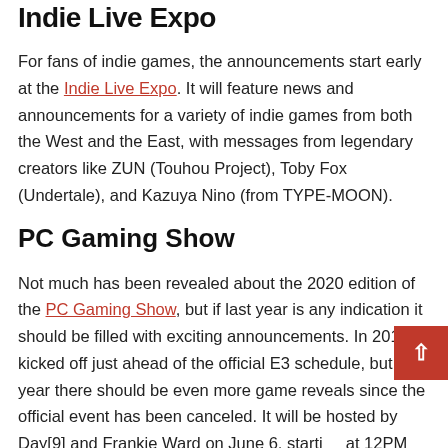Indie Live Expo
For fans of indie games, the announcements start early at the Indie Live Expo. It will feature news and announcements for a variety of indie games from both the West and the East, with messages from legendary creators like ZUN (Touhou Project), Toby Fox (Undertale), and Kazuya Nino (from TYPE-MOON).
PC Gaming Show
Not much has been revealed about the 2020 edition of the PC Gaming Show, but if last year is any indication it should be filled with exciting announcements. In 2019 it kicked off just ahead of the official E3 schedule, but this year there should be even more game reveals since the official event has been canceled. It will be hosted by Day[9] and Frankie Ward on June 6, starting at 12PM PDT.